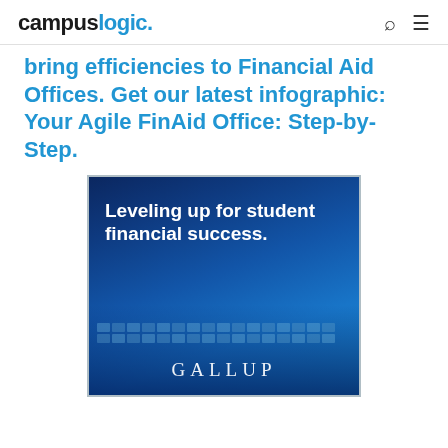campuslogic.
bring efficiencies to Financial Aid Offices. Get our latest infographic: Your Agile FinAid Office: Step-by-Step.
[Figure (photo): Blue-tinted image of hands typing on a keyboard with text 'Leveling up for student financial success.' and 'GALLUP' branding overlay]